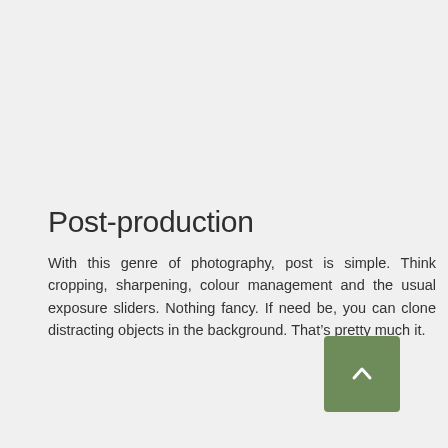Post-production
With this genre of photography, post is simple. Think cropping, sharpening, colour management and the usual exposure sliders. Nothing fancy. If need be, you can clone distracting objects in the background. That’s pretty much it.
[Figure (other): Green rounded-corner button with an upward-pointing chevron arrow, used as a back-to-top navigation element.]